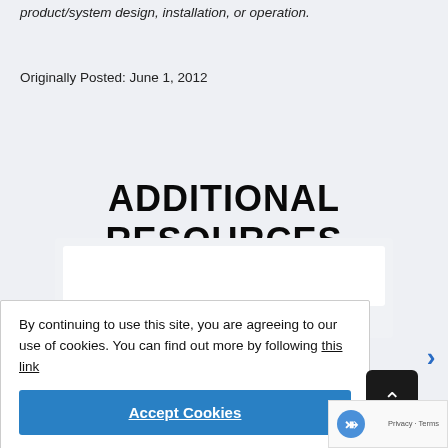product/system design, installation, or operation.
Originally Posted: June 1, 2012
ADDITIONAL RESOURCES
By continuing to use this site, you are agreeing to our use of cookies. You can find out more by following this link
Accept Cookies